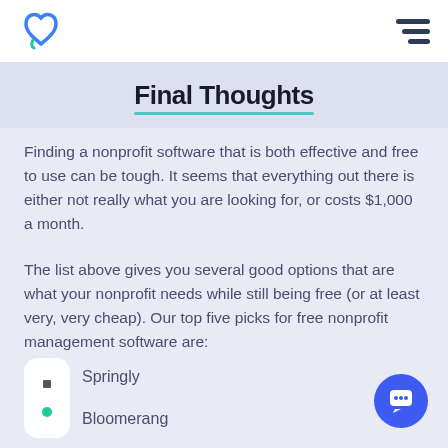Logo and navigation
Final Thoughts
Finding a nonprofit software that is both effective and free to use can be tough. It seems that everything out there is either not really what you are looking for, or costs $1,000 a month.
The list above gives you several good options that are what your nonprofit needs while still being free (or at least very, very cheap). Our top five picks for free nonprofit management software are:
Springly
Bloomerang